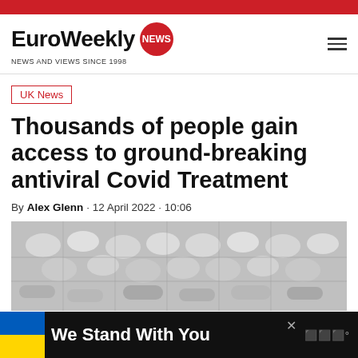EuroWeekly NEWS — NEWS AND VIEWS SINCE 1998
UK News
Thousands of people gain access to ground-breaking antiviral Covid Treatment
By Alex Glenn · 12 April 2022 · 10:06
[Figure (photo): Grayscale close-up photograph of blister packs of pills and capsule tablets]
We Stand With You